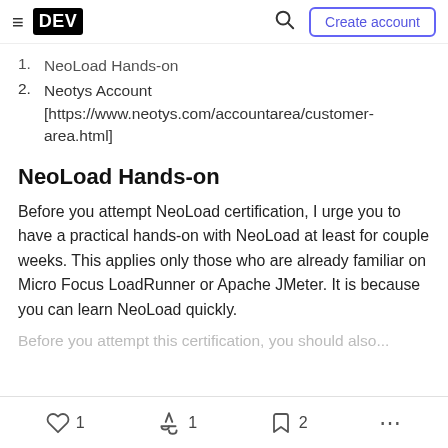DEV — Create account (navigation bar)
1. NeoLoad Hands-on
2. Neotys Account [https://www.neotys.com/accountarea/customer-area.html]
NeoLoad Hands-on
Before you attempt NeoLoad certification, I urge you to have a practical hands-on with NeoLoad at least for couple weeks. This applies only those who are already familiar on Micro Focus LoadRunner or Apache JMeter. It is because you can learn NeoLoad quickly.
❤ 1   🔥 1   🔖 2   ...